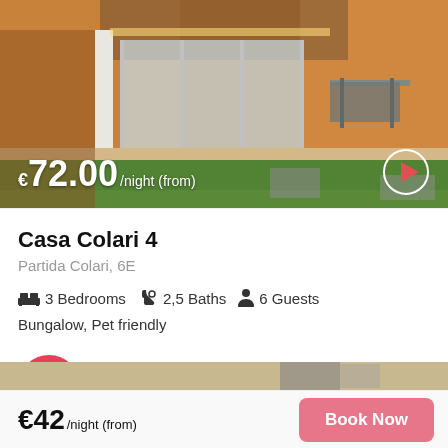[Figure (photo): Exterior photo of a bungalow with orange walls, glass sliding doors, white columns, a patio with outdoor furniture, and a green lawn.]
€72.00/night (from)
Casa Colari 4
Partida Colari, 6E
3 Bedrooms  2,5 Baths  6 Guests
Bungalow, Pet friendly
[Figure (logo): Facebook Messenger icon in a red/coral circle]
[Figure (photo): Partial preview of another property listing photo at the bottom]
€42/night (from)
Book Now